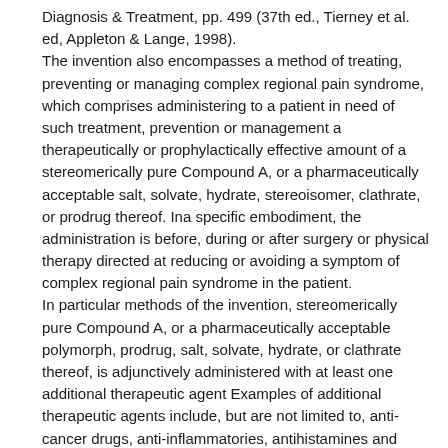Diagnosis & Treatment, pp. 499 (37th ed., Tierney et al. ed, Appleton & Lange, 1998).
The invention also encompasses a method of treating, preventing or managing complex regional pain syndrome, which comprises administering to a patient in need of such treatment, prevention or management a therapeutically or prophylactically effective amount of a stereomerically pure Compound A, or a pharmaceutically acceptable salt, solvate, hydrate, stereoisomer, clathrate, or prodrug thereof. Ina specific embodiment, the administration is before, during or after surgery or physical therapy directed at reducing or avoiding a symptom of complex regional pain syndrome in the patient.
In particular methods of the invention, stereomerically pure Compound A, or a pharmaceutically acceptable polymorph, prodrug, salt, solvate, hydrate, or clathrate thereof, is adjunctively administered with at least one additional therapeutic agent Examples of additional therapeutic agents include, but are not limited to, anti-cancer drugs, anti-inflammatories, antihistamines and decongestants. - .
4.1. SYN'1'3;ESIS AND PREPARATION
-Rccemic 2-[1-(3-Ethoxy-4-methoxyphenyl)-2-methylsulfonylethyl]-4-acetylaminoisoindoline-1,2-dione is